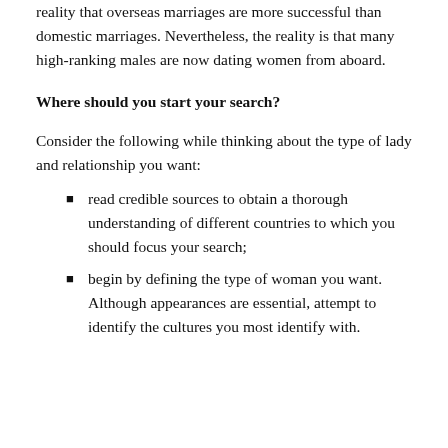reality that overseas marriages are more successful than domestic marriages. Nevertheless, the reality is that many high-ranking males are now dating women from aboard.
Where should you start your search?
Consider the following while thinking about the type of lady and relationship you want:
read credible sources to obtain a thorough understanding of different countries to which you should focus your search;
begin by defining the type of woman you want. Although appearances are essential, attempt to identify the cultures you most identify with.